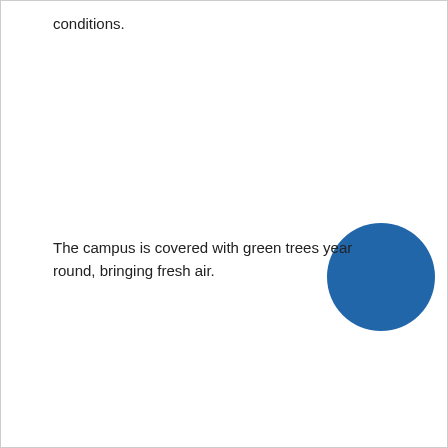conditions.
[Figure (illustration): A solid blue circle positioned at the right side of the page, overlapping with the text paragraph below.]
The campus is covered with green trees year round, bringing fresh air.